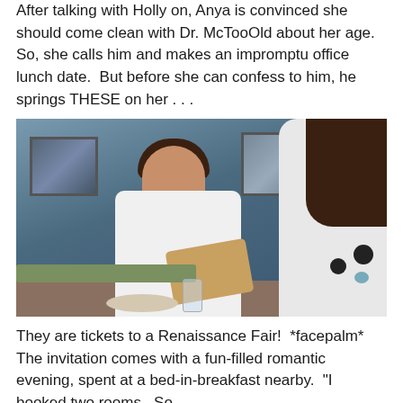After talking with Holly on, Anya is convinced she should come clean with Dr. McTooOld about her age.  So, she calls him and makes an impromptu office lunch date.  But before she can confess to him, he springs THESE on her . . .
[Figure (photo): A man in a white doctor's coat sitting at a table having lunch with a woman seen from behind, with framed artwork on the blue-gray walls behind them.]
They are tickets to a Renaissance Fair!  *facepalm*  The invitation comes with a fun-filled romantic evening, spent at a bed-in-breakfast nearby.  "I booked two rooms.  So